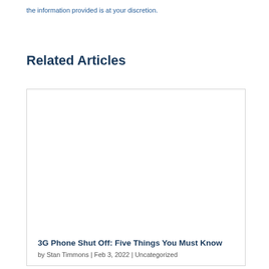the information provided is at your discretion.
Related Articles
[Figure (screenshot): Article card with a blank/white image area and article metadata below]
3G Phone Shut Off: Five Things You Must Know
by Stan Timmons | Feb 3, 2022 | Uncategorized